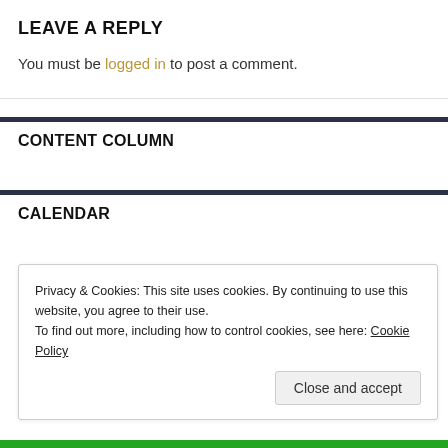LEAVE A REPLY
You must be logged in to post a comment.
CONTENT COLUMN
CALENDAR
Privacy & Cookies: This site uses cookies. By continuing to use this website, you agree to their use.
To find out more, including how to control cookies, see here: Cookie Policy
Close and accept